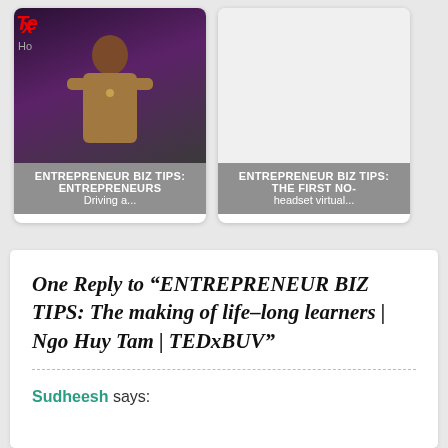[Figure (screenshot): Video thumbnail showing a man on stage at a TEDx event with dark purple/maroon background; overlay text reads ENTREPRENEUR BIZ TIPS: Entrepreneurs Driving a...]
ENTREPRENEUR BIZ TIPS: Entrepreneurs Driving a...
[Figure (screenshot): Video thumbnail placeholder (blank white); overlay text reads ENTREPRENEUR BIZ TIPS: The first no-headset virtual...]
ENTREPRENEUR BIZ TIPS: The first no-headset virtual...
One Reply to “ENTREPRENEUR BIZ TIPS: The making of life–long learners | Ngo Huy Tam | TEDxBUV”
Sudheesh says: